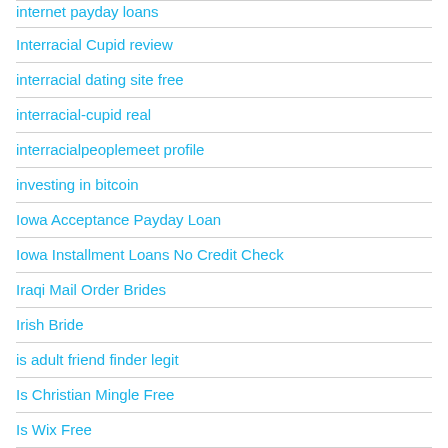internet payday loans
Interracial Cupid review
interracial dating site free
interracial-cupid real
interracialpeoplemeet profile
investing in bitcoin
Iowa Acceptance Payday Loan
Iowa Installment Loans No Credit Check
Iraqi Mail Order Brides
Irish Bride
is adult friend finder legit
Is Christian Mingle Free
Is Wix Free